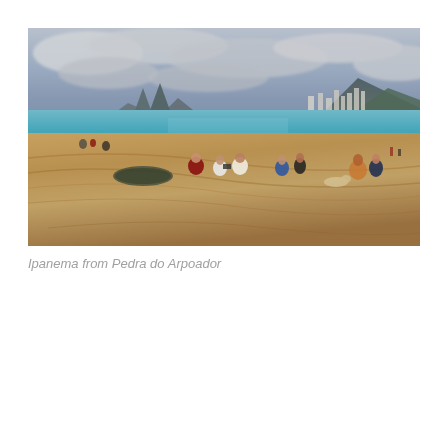[Figure (photo): Panoramic view of Ipanema beach in Rio de Janeiro taken from Pedra do Arpoador. Several people are sitting on rocky foreground cliffs, looking out over the turquoise ocean toward the wide sandy beach, city skyline, and mountains under a dramatic cloudy sky.]
Ipanema from Pedra do Arpoador